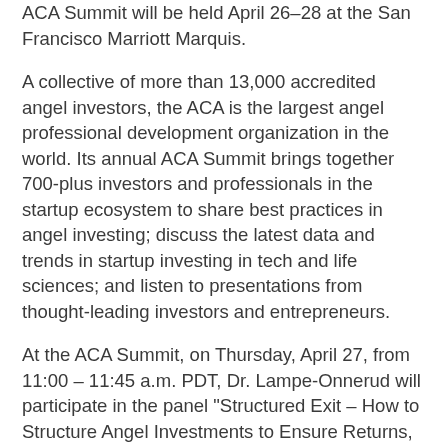ACA Summit will be held April 26–28 at the San Francisco Marriott Marquis.
A collective of more than 13,000 accredited angel investors, the ACA is the largest angel professional development organization in the world. Its annual ACA Summit brings together 700-plus investors and professionals in the startup ecosystem to share best practices in angel investing; discuss the latest data and trends in startup investing in tech and life sciences; and listen to presentations from thought-leading investors and entrepreneurs.
At the ACA Summit, on Thursday, April 27, from 11:00 – 11:45 a.m. PDT, Dr. Lampe-Onnerud will participate in the panel "Structured Exit – How to Structure Angel Investments to Ensure Returns, Independent of the Company's Exit." The session will be moderated by Gwen Edwards, one of Golden Seed's leaders in San Francisco/Silicon Valley; the firm is one of the world's largest investor groups focused on supporting women